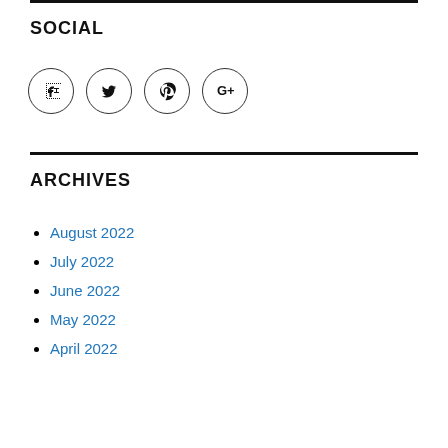SOCIAL
[Figure (illustration): Four social media icon circles: Facebook, Twitter, Pinterest, Google+]
ARCHIVES
August 2022
July 2022
June 2022
May 2022
April 2022